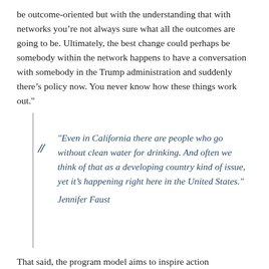be outcome-oriented but with the understanding that with networks you’re not always sure what all the outcomes are going to be. Ultimately, the best change could perhaps be somebody within the network happens to have a conversation with somebody in the Trump administration and suddenly there’s policy now. You never know how these things work out."
"Even in California there are people who go without clean water for drinking. And often we think of that as a developing country kind of issue, yet it’s happening right here in the United States."
Jennifer Faust
That said, the program model aims to inspire action